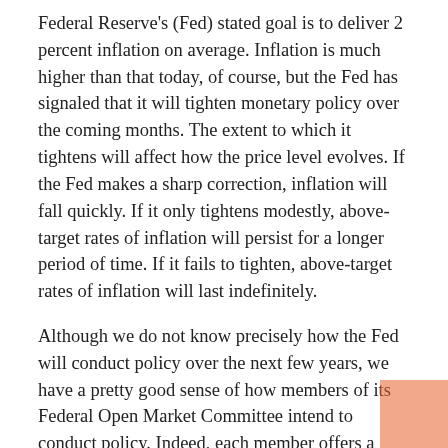Federal Reserve's (Fed) stated goal is to deliver 2 percent inflation on average. Inflation is much higher than that today, of course, but the Fed has signaled that it will tighten monetary policy over the coming months. The extent to which it tightens will affect how the price level evolves. If the Fed makes a sharp correction, inflation will fall quickly. If it only tightens modestly, above-target rates of inflation will persist for a longer period of time. If it fails to tighten, above-target rates of inflation will last indefinitely.
Although we do not know precisely how the Fed will conduct policy over the next few years, we have a pretty good sense of how members of its Federal Open Market Committee intend to conduct policy. Indeed, each member offers a projection of inflation under the assumption that the Fed conducts monetary policy appropriately, as he or she sees it. These projections are presented in The Summary of Economic Projections. The most recent projections, submitted in December, are reproduced in Table 1 below. Note that the central tendency of PCEPI projections is constructed by removing the three lowest and highest projections offered in each period.